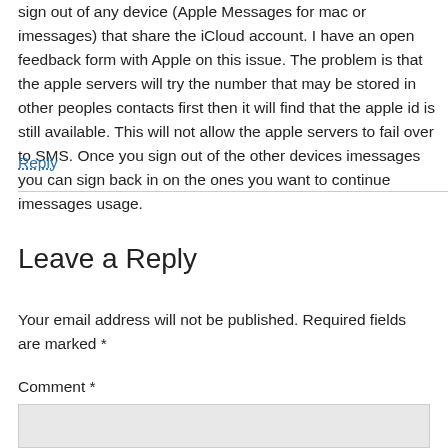sign out of any device (Apple Messages for mac or imessages) that share the iCloud account. I have an open feedback form with Apple on this issue. The problem is that the apple servers will try the number that may be stored in other peoples contacts first then it will find that the apple id is still available. This will not allow the apple servers to fail over to SMS. Once you sign out of the other devices imessages you can sign back in on the ones you want to continue imessages usage.
Reply
Leave a Reply
Your email address will not be published. Required fields are marked *
Comment *